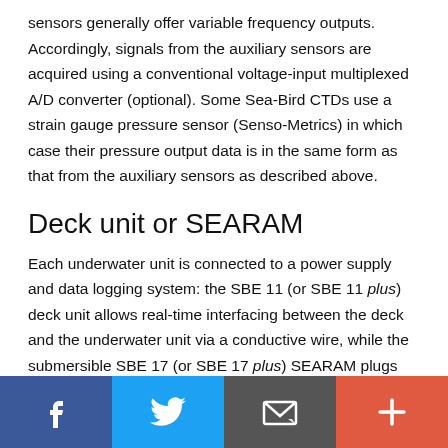sensors generally offer variable frequency outputs. Accordingly, signals from the auxiliary sensors are acquired using a conventional voltage-input multiplexed A/D converter (optional). Some Sea-Bird CTDs use a strain gauge pressure sensor (Senso-Metrics) in which case their pressure output data is in the same form as that from the auxiliary sensors as described above.
Deck unit or SEARAM
Each underwater unit is connected to a power supply and data logging system: the SBE 11 (or SBE 11 plus) deck unit allows real-time interfacing between the deck and the underwater unit via a conductive wire, while the submersible SBE 17 (or SBE 17 plus) SEARAM plugs directly into the